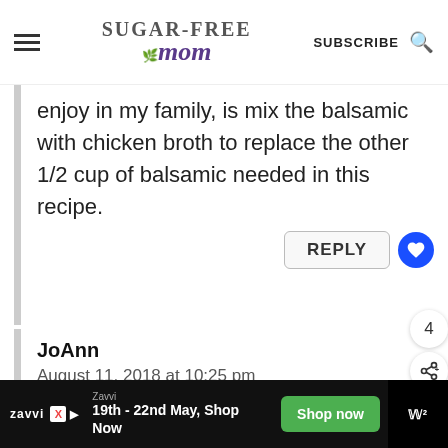SUGAR-FREE mom | SUBSCRIBE
enjoy in my family, is mix the balsamic with chicken broth to replace the other 1/2 cup of balsamic needed in this recipe.
REPLY
4
JoAnn
August 11, 2018 at 10:25 pm
Zavvi 19th - 22nd May, Shop Now | Shop now